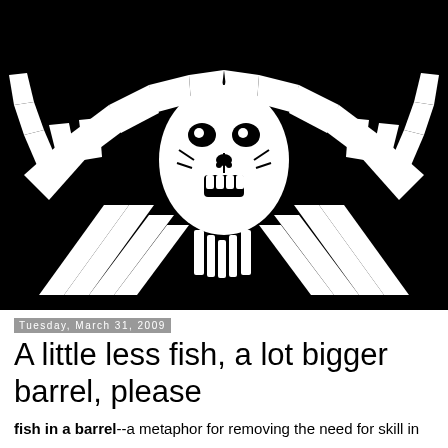[Figure (illustration): Black and white graphic illustration of a stylized face or skull with large spread wing-like structures on either side, rendered in high contrast black and white stencil art style]
Tuesday, March 31, 2009
A little less fish, a lot bigger barrel, please
fish in a barrel--a metaphor for removing the need for skill in